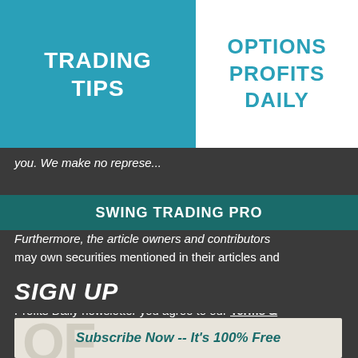TRADING TIPS
OPTIONS PROFITS DAILY
you. We make no represe...
SWING TRADING PRO
Furthermore, the article owners and contributors may own securities mentioned in their articles and not disclose this information. By using OptionsProfitsDaily.com or reading our Options Profits Daily newsletter you agree to our Terms & Conditions, Disclaimer and Privacy Policy.
SIGN UP
Subscribe Now -- It's 100% Free